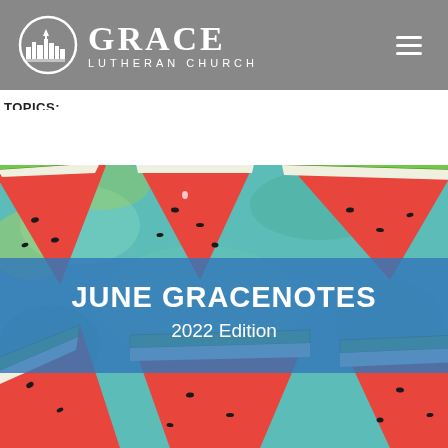Grace Lutheran Church
TOPICS:
[Figure (photo): Watermelon slices arranged on a turquoise painted surface, viewed from above, with a blue banner overlay reading JUNE GRACENOTES 2022 Edition]
JUNE GRACENOTES 2022 Edition